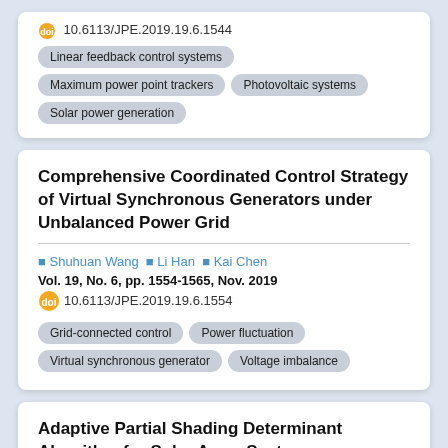Tags: Linear feedback control systems, Maximum power point trackers, Photovoltaic systems, Solar power generation
Comprehensive Coordinated Control Strategy of Virtual Synchronous Generators under Unbalanced Power Grid
Shuhuan Wang, Li Han, Kai Chen
Vol. 19, No. 6, pp. 1554-1565, Nov. 2019
10.6113/JPE.2019.19.6.1554
Tags: Grid-connected control, Power fluctuation, Virtual synchronous generator, Voltage imbalance
Adaptive Partial Shading Determinant Algorithm for Solar Array Systems
Thusitha Randima Wellawatta, Sung-Jin Choi
Vol. 19, No. 6, pp. 1566-1574, Nov. 2019
10.6113/JPE.2019.19.6.1566